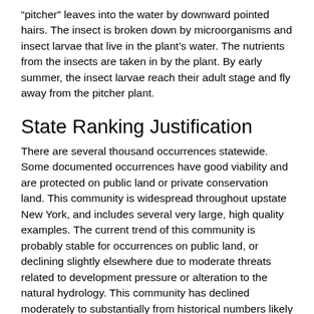"pitcher" leaves into the water by downward pointed hairs. The insect is broken down by microorganisms and insect larvae that live in the plant's water. The nutrients from the insects are taken in by the plant. By early summer, the insect larvae reach their adult stage and fly away from the pitcher plant.
State Ranking Justification
There are several thousand occurrences statewide. Some documented occurrences have good viability and are protected on public land or private conservation land. This community is widespread throughout upstate New York, and includes several very large, high quality examples. The current trend of this community is probably stable for occurrences on public land, or declining slightly elsewhere due to moderate threats related to development pressure or alteration to the natural hydrology. This community has declined moderately to substantially from historical numbers likely correlated with peat mining, and logging and development of the surrounding landscape.
Short-term Trends
The numbers and acreage of inland poor fens in New York have